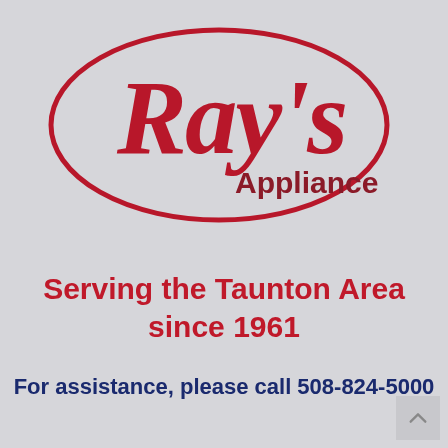[Figure (logo): Ray's Appliance logo: red cursive 'Ray's' text inside a red oval outline, with 'Appliance' in dark red serif text below-right]
Serving the Taunton Area since 1961
For assistance, please call 508-824-5000